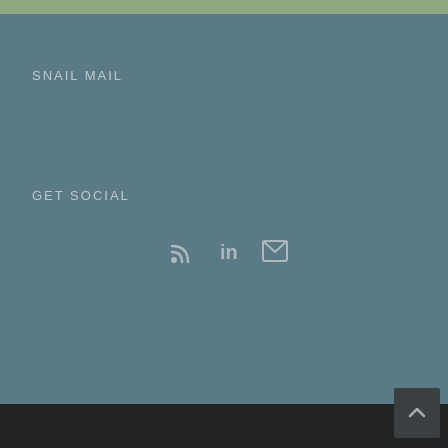SNAIL MAIL
GET SOCIAL
[Figure (infographic): Three social media icons: RSS feed, LinkedIn, and Email/envelope icons displayed horizontally]